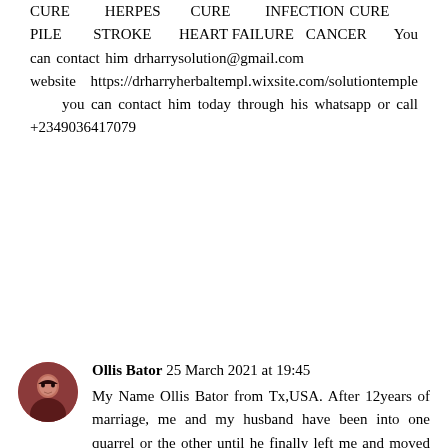CURE HERPES CURE INFECTION CURE PILE STROKE HEART FAILURE CANCER You can contact him drharrysolution@gmail.com website https://drharryherbaltempl.wixsite.com/solutiontemple you can contact him today through his whatsapp or call +2349036417079
Ollis Bator 25 March 2021 at 19:45
My Name Ollis Bator from Tx,USA. After 12years of marriage, me and my husband have been into one quarrel or the other until he finally left me and moved to California to be with another woman. I felt my life was over and my kids thought they would never see their father again. I tried to be strong just for the kids but I could not control the pains that tormented my heart, my heart was filled with sorrows and pains because I was really in love with my husband. Every day and night I think of him and always wish he would come back to me, I was really upset and I needed help, so I searched for help online and I came